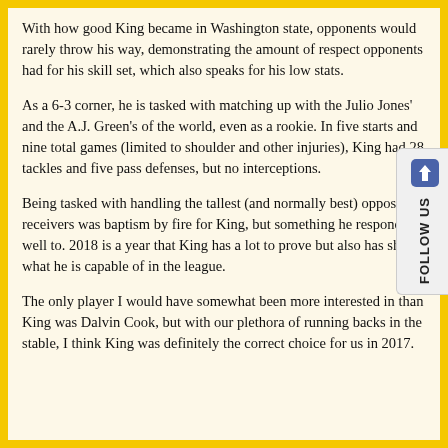With how good King became in Washington state, opponents would rarely throw his way, demonstrating the amount of respect opponents had for his skill set, which also speaks for his low stats.
As a 6-3 corner, he is tasked with matching up with the Julio Jones' and the A.J. Green's of the world, even as a rookie. In five starts and nine total games (limited to shoulder and other injuries), King had 28 tackles and five pass defenses, but no interceptions.
Being tasked with handling the tallest (and normally best) opposing receivers was baptism by fire for King, but something he responded well to. 2018 is a year that King has a lot to prove but also has shown what he is capable of in the league.
The only player I would have somewhat been more interested in than King was Dalvin Cook, but with our plethora of running backs in the stable, I think King was definitely the correct choice for us in 2017.